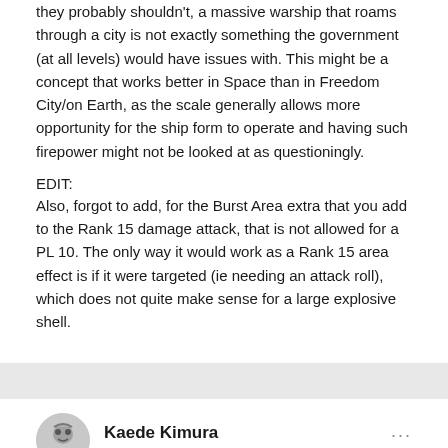they probably shouldn't, a massive warship that roams through a city is not exactly something the government (at all levels) would have issues with. This might be a concept that works better in Space than in Freedom City/on Earth, as the scale generally allows more opportunity for the ship form to operate and having such firepower might not be looked at as questioningly.
EDIT:
Also, forgot to add, for the Burst Area extra that you add to the Rank 15 damage attack, that is not allowed for a PL 10. The only way it would work as a Rank 15 area effect is if it were targeted (ie needing an attack roll), which does not quite make sense for a large explosive shell.
Kaede Kimura
Posted August 24, 2021
On 8/23/2021 at 5:02 PM, Thevshi said: